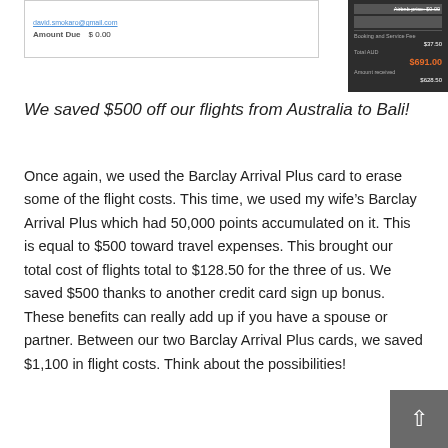[Figure (screenshot): Partial screenshot of an invoice showing email address david.smokaro@gmail.com and Amount Due $0.00, alongside a dark-themed receipt showing Airbnb service fee $37.50, Total AUD $691.00 in orange, Amount received $628.50]
We saved $500 off our flights from Australia to Bali!
Once again, we used the Barclay Arrival Plus card to erase some of the flight costs. This time, we used my wife’s Barclay Arrival Plus which had 50,000 points accumulated on it. This is equal to $500 toward travel expenses. This brought our total cost of flights total to $128.50 for the three of us. We saved $500 thanks to another credit card sign up bonus. These benefits can really add up if you have a spouse or partner. Between our two Barclay Arrival Plus cards, we saved $1,100 in flight costs. Think about the possibilities!